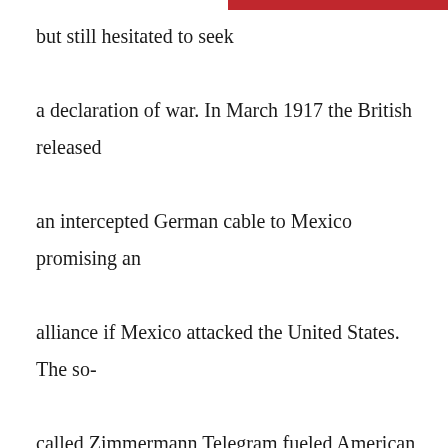but still hesitated to seek a declaration of war. In March 1917 the British released an intercepted German cable to Mexico promising an alliance if Mexico attacked the United States. The so-called Zimmermann Telegram fueled American public support for war, and on April 2, 1917, Wilson asked Congress to declare war on Germany “because the world must be made safe for democracy.” American troops entered the fighting in October 1917 and by the summer of 1918 were on the offensive